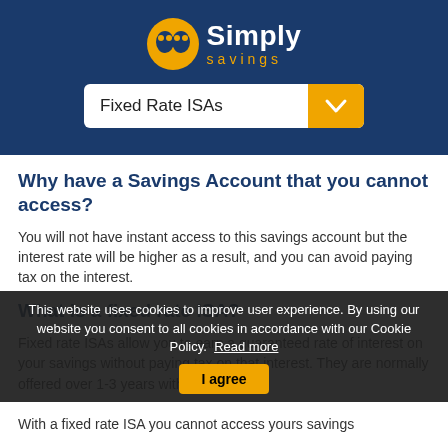[Figure (logo): Simply Savings logo with orange oval icon and white text 'Simply' and gold 'savings' below]
Fixed Rate ISAs
Why have a Savings Account that you cannot access?
You will not have instant access to this savings account but the interest rate will be higher as a result, and you can avoid paying tax on the interest.
What is a fixed rate ISA?
Fixed rate ISAs allow you to earn a guaranteed rate of interest on your savings without paying tax on that interest. They are normally offered over 1-3 years with the level of
This website uses cookies to improve user experience. By using our website you consent to all cookies in accordance with our Cookie Policy.
Read more
I agree
With a fixed rate ISA you cannot access yours savings